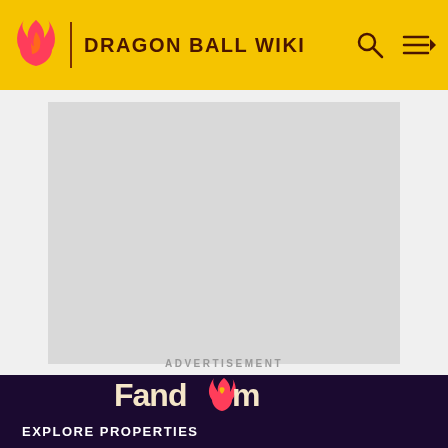DRAGON BALL WIKI
[Figure (other): Advertisement placeholder - large light gray rectangle]
ADVERTISEMENT
[Figure (logo): Fandom logo with flame icon and heart, white and pink text on dark purple background]
EXPLORE PROPERTIES